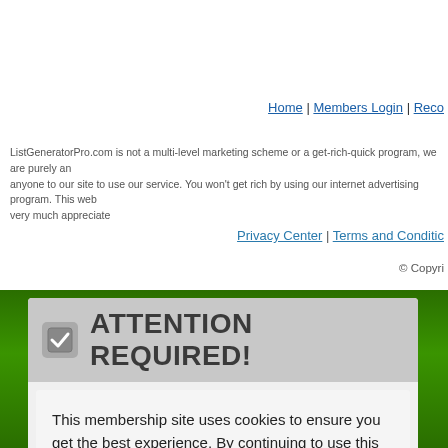Home | Members Login | Reco...
ListGeneratorPro.com is not a multi-level marketing scheme or a get-rich-quick program, we are purely an... anyone to our site to use our service. You won't get rich by using our internet advertising program. This web... very much appreciate
Privacy Center | Terms and Conditic...
© Copyri...
ATTENTION REQUIRED!
This membership site uses cookies to ensure you get the best experience. By continuing to use this site, you consent to their use.
Yes, I accept cookies
Privacy Center